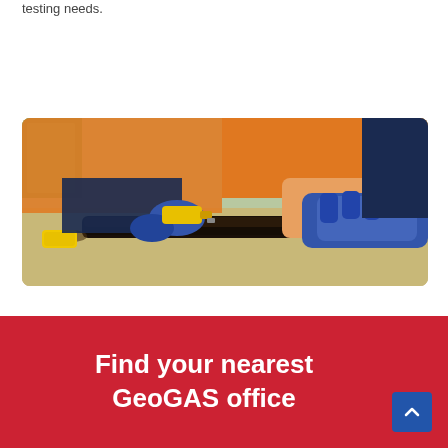testing needs.
[Figure (photo): Two workers in orange high-visibility shirts and blue nitrile gloves examining and working on a dark rock core sample on a table in a laboratory setting.]
Find your nearest GeoGAS office